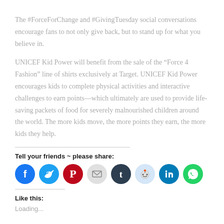The #ForceForChange and #GivingTuesday social conversations encourage fans to not only give back, but to stand up for what you believe in.
UNICEF Kid Power will benefit from the sale of the “Force 4 Fashion” line of shirts exclusively at Target. UNICEF Kid Power encourages kids to complete physical activities and interactive challenges to earn points—which ultimately are used to provide life-saving packets of food for severely malnourished children around the world. The more kids move, the more points they earn, the more kids they help.
Tell your friends ~ please share:
[Figure (infographic): Row of social media share buttons: Facebook (blue), Twitter (teal), Pinterest (red), Email (light gray), Tumblr (dark navy), Reddit (light blue), LinkedIn (teal), WhatsApp (green)]
Like this:
Loading...